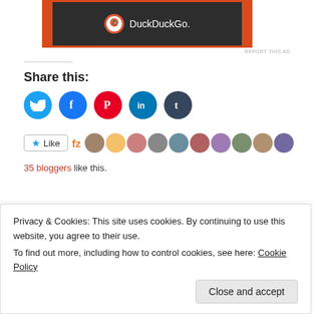[Figure (screenshot): DuckDuckGo advertisement banner with orange background and dark inner panel showing DuckDuckGo logo and text]
REPORT THIS AD
Share this:
[Figure (infographic): Row of social media share buttons: Twitter (blue), Facebook (blue), Pinterest (red), LinkedIn (blue), Tumblr (dark)]
[Figure (infographic): Like button with star icon, fz logo, and strip of 10 blogger avatar photos]
35 bloggers like this.
Related
Nordstrom Rack Collective Haul
Mini Beauty/Fashion Haul! (part 2)
Privacy & Cookies: This site uses cookies. By continuing to use this website, you agree to their use.
To find out more, including how to control cookies, see here: Cookie Policy
Close and accept